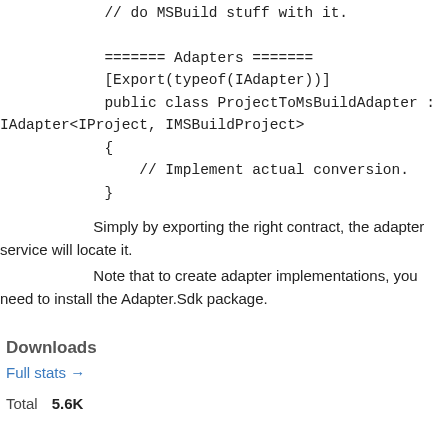// do MSBuild stuff with it.

======= Adapters =======
[Export(typeof(IAdapter))]
public class ProjectToMsBuildAdapter :
IAdapter<IProject, IMSBuildProject>
{
    // Implement actual conversion.
}
Simply by exporting the right contract, the adapter service will locate it.
Note that to create adapter implementations, you need to install the Adapter.Sdk package.
Downloads
Full stats →
Total   5.6K